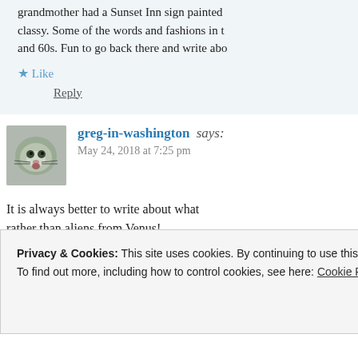grandmother had a Sunset Inn sign painted classy. Some of the words and fashions in the and 60s. Fun to go back there and write abo
★ Like
Reply
greg-in-washington says:
May 24, 2018 at 7:25 pm
It is always better to write about what rather than aliens from Venus!
★ Liked by 2 people
Privacy & Cookies: This site uses cookies. By continuing to use this website, you agree to their use.
To find out more, including how to control cookies, see here: Cookie Policy
Close and accept